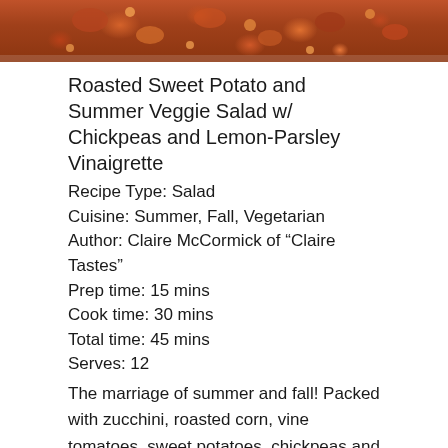[Figure (photo): Photo of roasted sweet potato and summer veggie salad with chickpeas, showing colorful vegetables in a dish]
Roasted Sweet Potato and Summer Veggie Salad w/ Chickpeas and Lemon-Parsley Vinaigrette
Recipe Type: Salad
Cuisine: Summer, Fall, Vegetarian
Author: Claire McCormick of “Claire Tastes”
Prep time: 15 mins
Cook time: 30 mins
Total time: 45 mins
Serves: 12
The marriage of summer and fall! Packed with zucchini, roasted corn, vine tomatoes, sweet potatoes, chickpeas and tied together with a light lemon vinaigrette, this is one to definitely keep making all season.
Ingredients